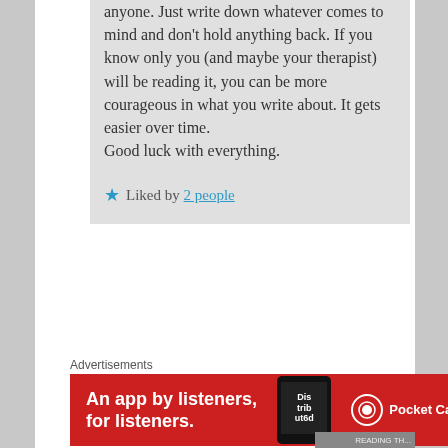anyone. Just write down whatever comes to mind and don't hold anything back. If you know only you (and maybe your therapist) will be reading it, you can be more courageous in what you write about. It gets easier over time.
Good luck with everything.
★ Liked by 2 people
Advertisements
[Figure (screenshot): Red advertisement banner for Pocket Casts app: 'An app by listeners, for listeners.' with phone image and Pocket Casts logo]